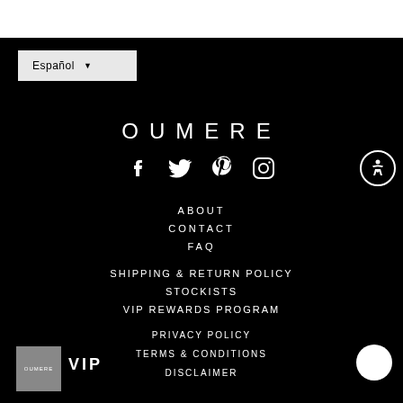Español ▾
OUMERE
[Figure (illustration): Social media icons: Facebook, Twitter, Pinterest, Instagram in white on black background]
ABOUT
CONTACT
FAQ
SHIPPING & RETURN POLICY
STOCKISTS
VIP REWARDS PROGRAM
[Figure (logo): Oumere logo small white text on grey box]
VIP
PRIVACY POLICY
TERMS & CONDITIONS
DISCLAIMER